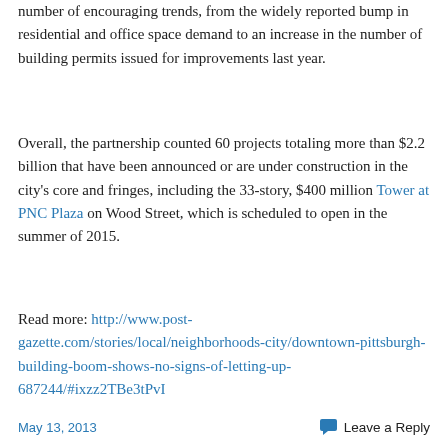number of encouraging trends, from the widely reported bump in residential and office space demand to an increase in the number of building permits issued for improvements last year.
Overall, the partnership counted 60 projects totaling more than $2.2 billion that have been announced or are under construction in the city’s core and fringes, including the 33-story, $400 million Tower at PNC Plaza on Wood Street, which is scheduled to open in the summer of 2015.
Read more: http://www.post-gazette.com/stories/local/neighborhoods-city/downtown-pittsburgh-building-boom-shows-no-signs-of-letting-up-687244/#ixzz2TBe3tPvI
May 13, 2013   Leave a Reply